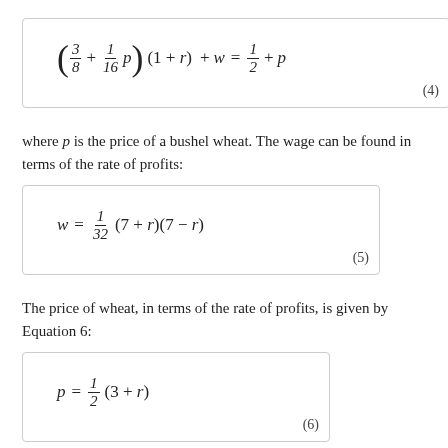where p is the price of a bushel wheat. The wage can be found in terms of the rate of profits:
The price of wheat, in terms of the rate of profits, is given by Equation 6: